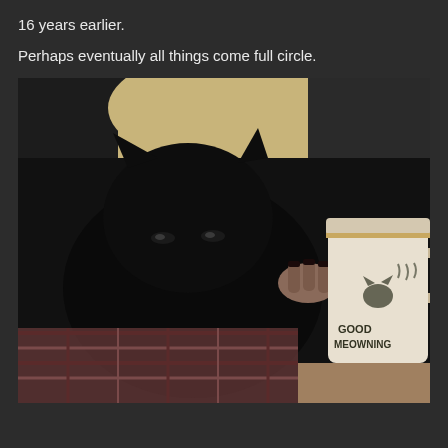16 years earlier.
Perhaps eventually all things come full circle.
[Figure (photo): A black cat being held by a person with dark painted nails. The person also holds a large mug that reads 'GOOD MEOWNING' with an illustration of a cat.]